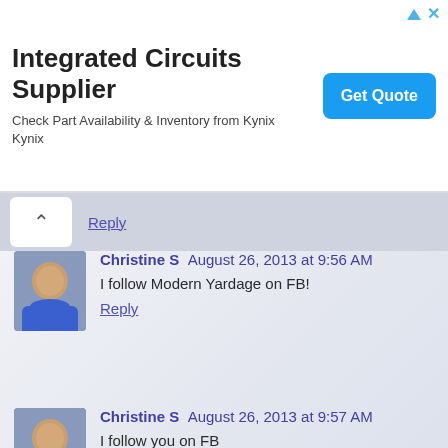[Figure (screenshot): Advertisement banner for Integrated Circuits Supplier (Kynix). Title: 'Integrated Circuits Supplier'. Subtitle: 'Check Part Availability & Inventory from Kynix Kynix'. Blue 'Get Quote' button on right. Ad icons (triangle and X) in top-right corner.]
Reply
Christine S  August 26, 2013 at 9:56 AM
I follow Modern Yardage on FB!
Reply
Christine S  August 26, 2013 at 9:57 AM
I follow you on FB
Reply
Christine S  August 26, 2013 at 9:59 AM
I follow you by email